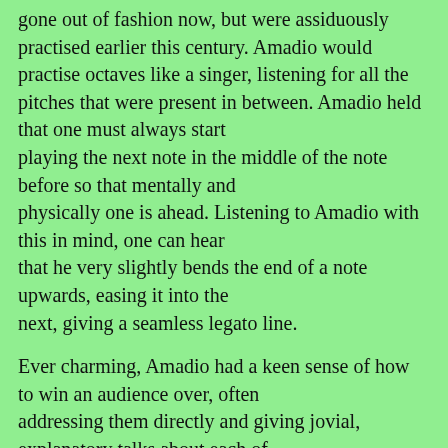gone out of fashion now, but were assiduously practised earlier this century. Amadio would practise octaves like a singer, listening for all the pitches that were present in between. Amadio held that one must always start playing the next note in the middle of the note before so that mentally and physically one is ahead. Listening to Amadio with this in mind, one can hear that he very slightly bends the end of a note upwards, easing it into the next, giving a seamless legato line.
Ever charming, Amadio had a keen sense of how to win an audience over, often addressing them directly and giving jovial, explanatory talks about each of the flutes he had with him along with the music on the program. He loved to explain that the Bach sonatas called for wooden flute. The talks were particularly enjoyable for Australian audiences who, at the time, were accustomed to a staple diet of Wagner, Tchaikovsky, Mendelssohn, Brahms, Beethoven, Dvorak and Strauss. Amadio introduced baroque flute